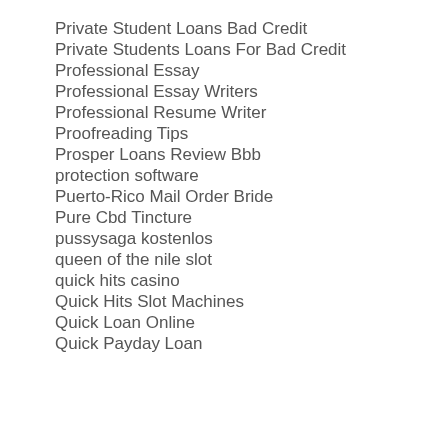Private Student Loans Bad Credit
Private Students Loans For Bad Credit
Professional Essay
Professional Essay Writers
Professional Resume Writer
Proofreading Tips
Prosper Loans Review Bbb
protection software
Puerto-Rico Mail Order Bride
Pure Cbd Tincture
pussysaga kostenlos
queen of the nile slot
quick hits casino
Quick Hits Slot Machines
Quick Loan Online
Quick Payday Loan